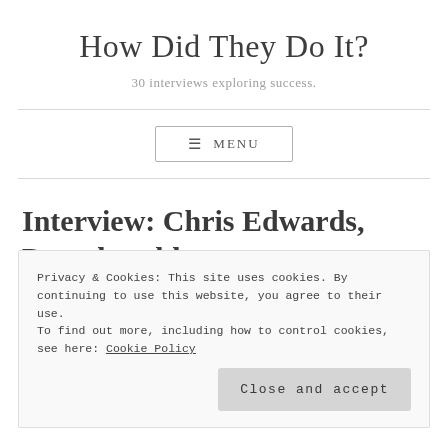How Did They Do It?
30 interviews exploring success.
[Figure (other): Navigation menu button with hamburger icon and MENU label]
Interview: Chris Edwards, Poundworld
Privacy & Cookies: This site uses cookies. By continuing to use this website, you agree to their use.
To find out more, including how to control cookies, see here: Cookie Policy
Close and accept